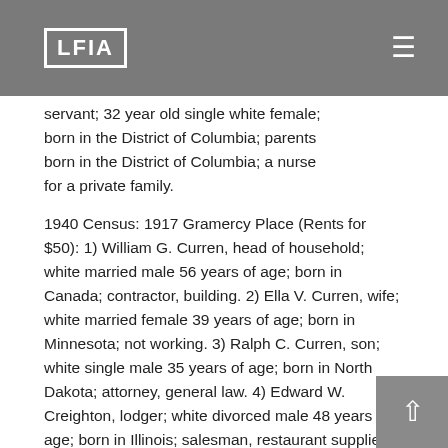LFIA
servant; 32 year old single white female; born in the District of Columbia; parents born in the District of Columbia; a nurse for a private family.
1940 Census: 1917 Gramercy Place (Rents for $50): 1) William G. Curren, head of household; white married male 56 years of age; born in Canada; contractor, building. 2) Ella V. Curren, wife; white married female 39 years of age; born in Minnesota; not working. 3) Ralph C. Curren, son; white single male 35 years of age; born in North Dakota; attorney, general law. 4) Edward W. Creighton, lodger; white divorced male 48 years of age; born in Illinois; salesman, restaurant supplies; earns $1,300.
Details